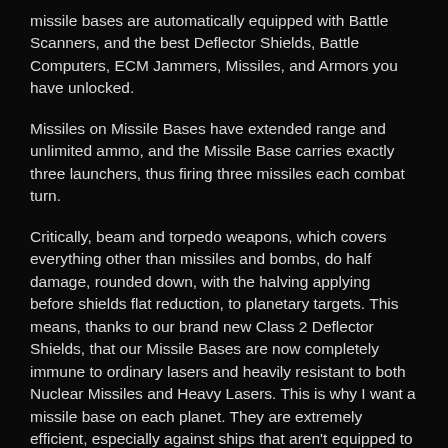missile bases are automatically equipped with Battle Scanners, and the best Deflector Shields, Battle Computers, ECM Jammers, Missiles, and Armors you have unlocked.
Missiles on Missile Bases have extended range and unlimited ammo, and the Missile Base carries exactly three launchers, thus firing three missiles each combat turn.
Critically, beam and torpedo weapons, which covers everything other than missiles and bombs, do half damage, rounded down, with the halving applying before shields flat reduction, to planetary targets. This means, thanks to our brand new Class 2 Deflector Shields, that our Missile Bases are now completely immune to ordinary lasers and heavily resistant to both Nuclear Missiles and Heavy Lasers. This is why I want a missile base on each planet. They are extremely efficient, especially against ships that aren't equipped to specifically take them on.